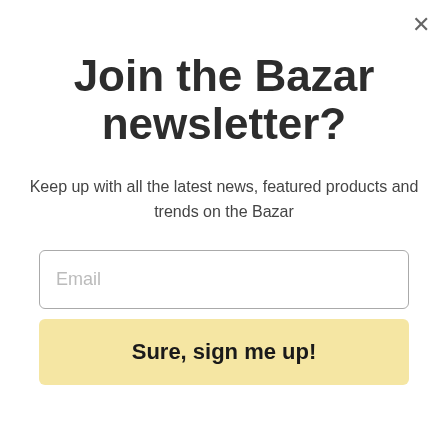[Figure (screenshot): Product listing for PETBOT MACHINE PET filament maker showing product image, Georgia flag icon, product name and price £341.22 in background]
Join the Bazar newsletter?
Keep up with all the latest news, featured products and trends on the Bazar
Email
Sure, sign me up!